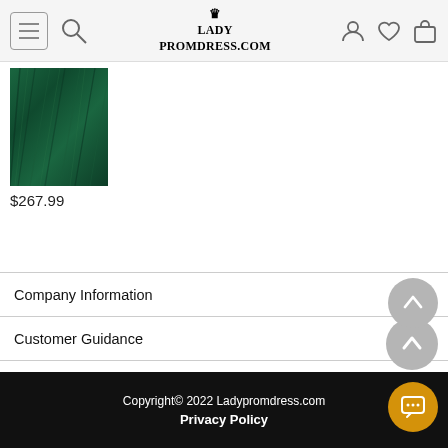LADYPROMDRESS.COM
[Figure (photo): Dark teal/green ball gown dress fabric, close-up view showing tulle layers]
$267.99
Company Information
Customer Guidance
Hot Categories
Design Your Dress
Contact Ladypromdress
Copyright© 2022 Ladypromdress.com  Privacy Policy